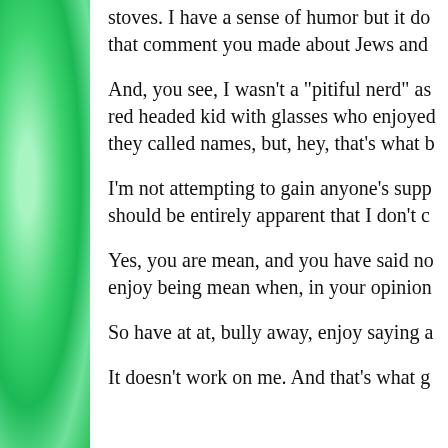stoves. I have a sense of humor but it do that comment you made about Jews and
And, you see, I wasn't a "pitiful nerd" as red headed kid with glasses who enjoyed they called names, but, hey, that's what b
I'm not attempting to gain anyone's supp should be entirely apparent that I don't c
Yes, you are mean, and you have said no enjoy being mean when, in your opinion
So have at at, bully away, enjoy saying a
It doesn't work on me. And that's what g